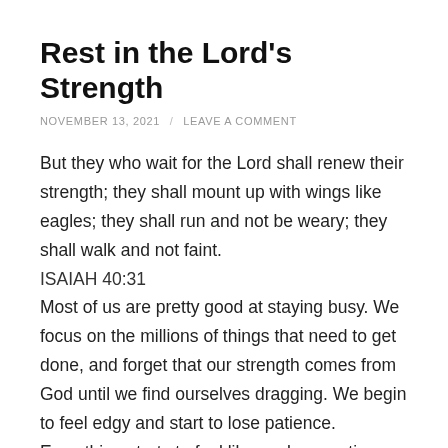Rest in the Lord's Strength
NOVEMBER 13, 2021 / LEAVE A COMMENT
But they who wait for the Lord shall renew their strength; they shall mount up with wings like eagles; they shall run and not be weary; they shall walk and not faint.
ISAIAH 40:31
Most of us are pretty good at staying busy. We focus on the millions of things that need to get done, and forget that our strength comes from God until we find ourselves dragging. We begin to feel edgy and start to lose patience. Everything starts to feel like work, even time with family or things we usually enjoy. God tells us to cast our cares to Him, but we tend to carry all of our